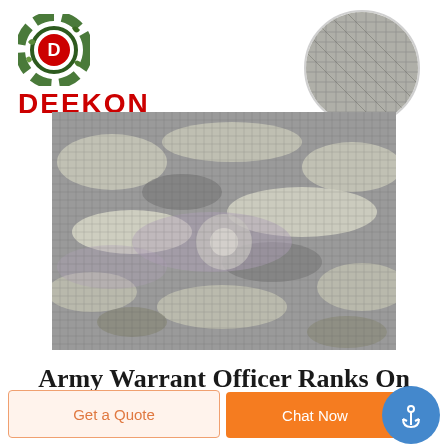[Figure (logo): Deekon brand logo: circular camouflage-pattern icon with a red D, and bold red DEEKON text below]
[Figure (photo): Close-up circular inset of grey plaid/grid fabric texture]
[Figure (photo): Main product photo: camouflage military fabric in grey/white/beige with grid texture, fabric twisted in center]
Army Warrant Officer Ranks On
Get a Quote
Chat Now